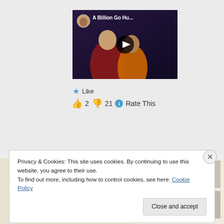[Figure (screenshot): Video thumbnail with dark background showing two people, play button in center, title 'A Billion Go Hu...' in white text]
★ Like
👍 2 👎 21 ℹ Rate This
[Figure (photo): Partial image strip showing food/recipe photos on light tan background]
Privacy & Cookies: This site uses cookies. By continuing to use this website, you agree to their use.
To find out more, including how to control cookies, see here: Cookie Policy
Close and accept